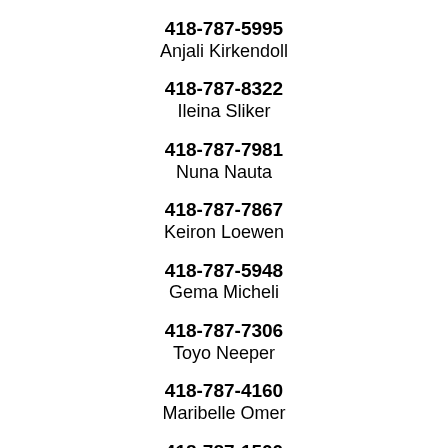418-787-5995
Anjali Kirkendoll
418-787-8322
Ileina Sliker
418-787-7981
Nuna Nauta
418-787-7867
Keiron Loewen
418-787-5948
Gema Micheli
418-787-7306
Toyo Neeper
418-787-4160
Maribelle Omer
418-787-1500
Farycka Kieran
418-787-4277